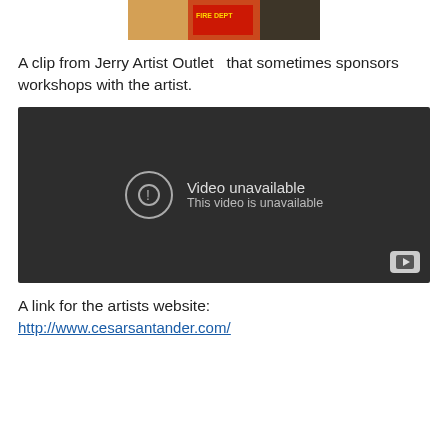[Figure (photo): Partial photo at top of page showing a person holding items, cropped at top.]
A clip from Jerry Artist Outlet  that sometimes sponsors workshops with the artist.
[Figure (screenshot): Embedded YouTube video player showing 'Video unavailable — This video is unavailable' message on dark background.]
A link for the artists website:
http://www.cesarsantander.com/